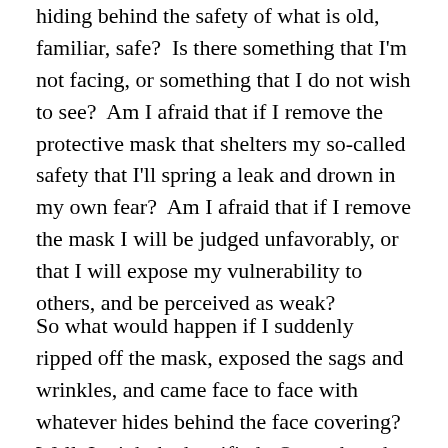hiding behind the safety of what is old, familiar, safe?  Is there something that I'm not facing, or something that I do not wish to see?  Am I afraid that if I remove the protective mask that shelters my so-called safety that I'll spring a leak and drown in my own fear?  Am I afraid that if I remove the mask I will be judged unfavorably, or that I will expose my vulnerability to others, and be perceived as weak?
So what would happen if I suddenly ripped off the mask, exposed the sags and wrinkles, and came face to face with whatever hides behind the face covering?  Well, I might be horrified.  Or on the other hand, I might be pleasantly surprised to find a lovely person that I've never